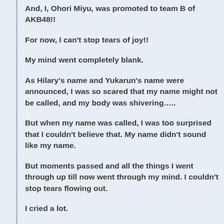And, I, Ohori Miyu, was promoted to team B of AKB48!!
For now, I can't stop tears of joy!!
My mind went completely blank.
As Hilary's name and Yukarun's name were announced, I was so scared that my name might not be called, and my body was shivering…..
But when my name was called, I was too surprised that I couldn't believe that. My name didn't sound like my name.
But moments passed and all the things I went through up till now went through my mind. I couldn't stop tears flowing out.
I cried a lot.
Until today,